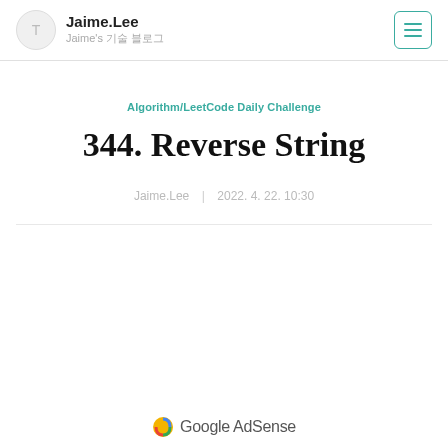Jaime.Lee — Jaime's 기술 블로그
Algorithm/LeetCode Daily Challenge
344. Reverse String
Jaime.Lee | 2022. 4. 22. 10:30
[Figure (logo): Google AdSense logo partially visible at bottom of page]